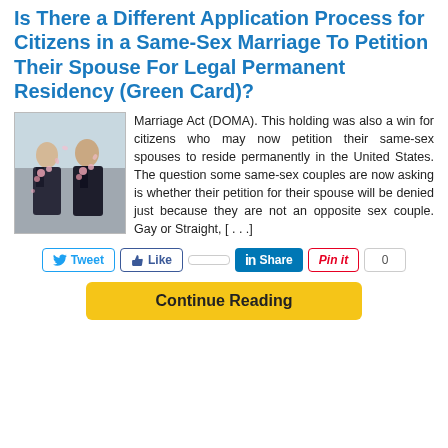Is There a Different Application Process for Citizens in a Same-Sex Marriage To Petition Their Spouse For Legal Permanent Residency (Green Card)?
[Figure (photo): Two men in suits with pink flowers at a wedding ceremony]
Marriage Act (DOMA). This holding was also a win for citizens who may now petition their same-sex spouses to reside permanently in the United States. The question some same-sex couples are now asking is whether their petition for their spouse will be denied just because they are not an opposite sex couple. Gay or Straight, [...]
Tweet  Like  Share  Pin it  0
Continue Reading